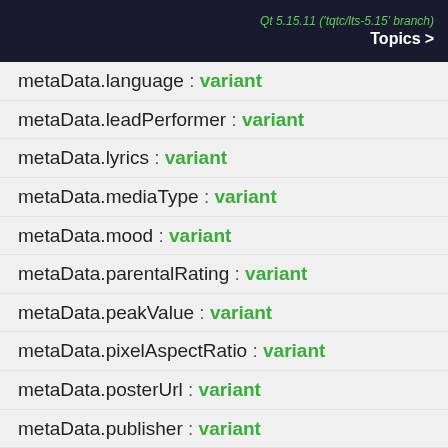Qt 5.15.11 ('tqtc/lts-5.15' branch) Topics
metaData.language : variant
metaData.leadPerformer : variant
metaData.lyrics : variant
metaData.mediaType : variant
metaData.mood : variant
metaData.parentalRating : variant
metaData.peakValue : variant
metaData.pixelAspectRatio : variant
metaData.posterUrl : variant
metaData.publisher : variant
metaData.ratingOrganization : variant
metaData.resolution : variant
metaData.sampleRate : variant